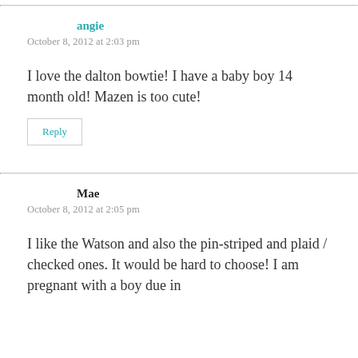angie
October 8, 2012 at 2:03 pm
I love the dalton bowtie! I have a baby boy 14 month old! Mazen is too cute!
Reply
Mae
October 8, 2012 at 2:05 pm
I like the Watson and also the pin-striped and plaid / checked ones. It would be hard to choose! I am pregnant with a boy due in